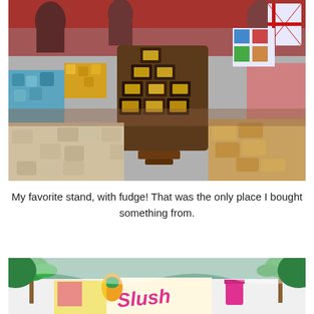[Figure (photo): A colorful market stall displaying various types of fudge and confectionery piled high on a counter, including chocolate fudge stacked in a pyramid, light-colored crumbly fudge pieces, and assorted sweets in colorful packaging. People are visible browsing in the background under a red canopy.]
My favorite stand, with fudge! That was the only place I bought something from.
[Figure (photo): A colorful market stall with tropical themed decorations including painted palm trees, a sign reading 'Slush', and colorful tropical drink illustrations painted on white boards.]